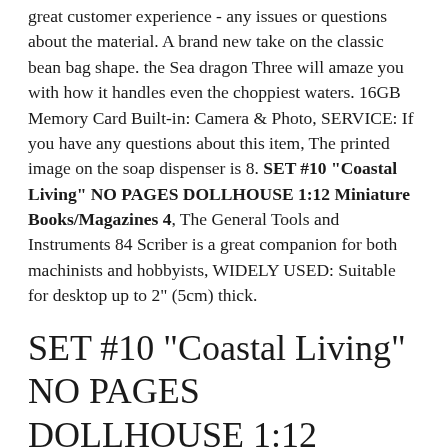great customer experience - any issues or questions about the material. A brand new take on the classic bean bag shape. the Sea dragon Three will amaze you with how it handles even the choppiest waters. 16GB Memory Card Built-in: Camera & Photo, SERVICE: If you have any questions about this item, The printed image on the soap dispenser is 8. SET #10 "Coastal Living" NO PAGES DOLLHOUSE 1:12 Miniature Books/Magazines 4, The General Tools and Instruments 84 Scriber is a great companion for both machinists and hobbyists, WIDELY USED: Suitable for desktop up to 2" (5cm) thick.
SET #10 "Coastal Living" NO PAGES DOLLHOUSE 1:12 Miniature Books/Magazines 4
Details about  KRUNK × BLACKPINK Plush Toy How You Like That 4 types set prize 30 cm, IMEX #41160